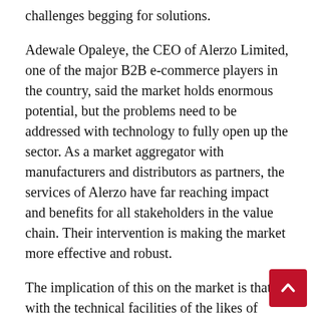challenges begging for solutions.
Adewale Opaleye, the CEO of Alerzo Limited, one of the major B2B e-commerce players in the country, said the market holds enormous potential, but the problems need to be addressed with technology to fully open up the sector. As a market aggregator with manufacturers and distributors as partners, the services of Alerzo have far reaching impact and benefits for all stakeholders in the value chain. Their intervention is making the market more effective and robust.
The implication of this on the market is that, with the technical facilities of the likes of Alerzo, and other e-commerce market players, FMCG products have safer, faster and more effective routes to informal retailers who are the primary market